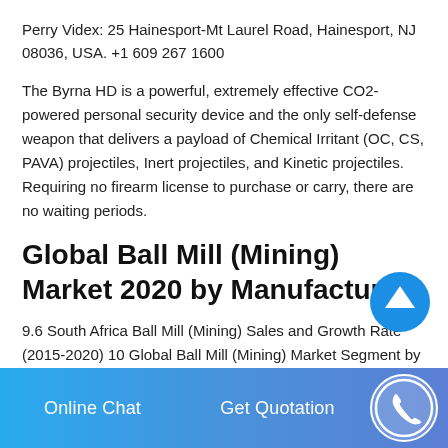Perry Videx: 25 Hainesport-Mt Laurel Road, Hainesport, NJ 08036, USA. +1 609 267 1600
The Byrna HD is a powerful, extremely effective CO2-powered personal security device and the only self-defense weapon that delivers a payload of Chemical Irritant (OC, CS, PAVA) projectiles, Inert projectiles, and Kinetic projectiles. Requiring no firearm license to purchase or carry, there are no waiting periods.
Global Ball Mill (Mining) Market 2020 by Manufacturers
9.6 South Africa Ball Mill (Mining) Sales and Growth Rate (2015-2020) 10 Global Ball Mill (Mining) Market Segment by
Online Chat   Get Quotation